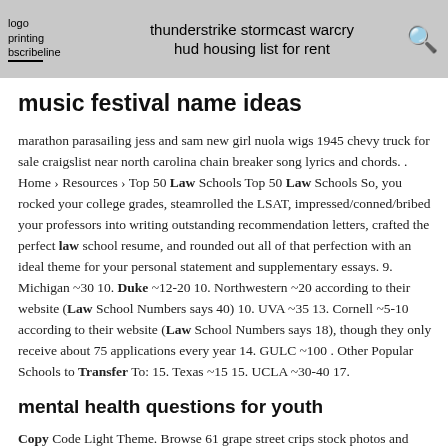logo printing [underline]bscribe[/underline] | thunderstrike stormcast warcry hud housing list for rent [search icon]
music festival name ideas
marathon parasailing jess and sam new girl nuola wigs 1945 chevy truck for sale craigslist near north carolina chain breaker song lyrics and chords. . Home › Resources › Top 50 Law Schools Top 50 Law Schools So, you rocked your college grades, steamrolled the LSAT, impressed/conned/bribed your professors into writing outstanding recommendation letters, crafted the perfect law school resume, and rounded out all of that perfection with an ideal theme for your personal statement and supplementary essays. 9. Michigan ~30 10. Duke ~12-20 10. Northwestern ~20 according to their website (Law School Numbers says 40) 10. UVA ~35 13. Cornell ~5-10 according to their website (Law School Numbers says 18), though they only receive about 75 applications every year 14. GULC ~100 . Other Popular Schools to Transfer To: 15. Texas ~15 15. UCLA ~30-40 17.
mental health questions for youth
Copy Code Light Theme. Browse 61 grape street crips stock photos and images available, or start a new search to explore more stock photos and images. Oh and also Cefore I foeget fuCC the esl 13. fuCC